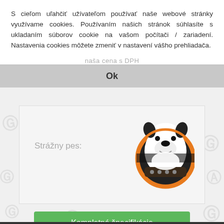S cieľom uľahčiť užívateľom používať naše webové stránky využívame cookies. Používaním našich stránok súhlasíte s ukladaním súborov cookie na vašom počítači / zariadení. Nastavenia cookies môžete zmeniť v nastavení vášho prehliadača.
naša cena s DPH
Ok
Strážny pes:
[Figure (illustration): Cartoon illustration of a guard dog (white bull terrier) with an orange and black circular collar/background]
Kompletné špecifikácie
Na stiahnutie
Súvisiaci tovar (0)